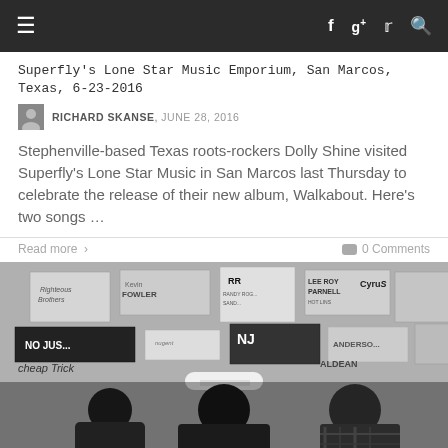navigation bar with hamburger menu and social icons (Facebook, Google+, Twitter, Search)
Superfly's Lone Star Music Emporium, San Marcos, Texas, 6-23-2016
RICHARD SKANSE, JUNE 28, 2016
Stephenville-based Texas roots-rockers Dolly Shine visited Superfly's Lone Star Music in San Marcos last Thursday to celebrate the release of their new album, Walkabout. Here's two songs …
Read more >
0 Comments
[Figure (photo): Black and white photo of three men standing in front of a wall covered with concert posters and stickers. Visible text on posters includes: Lee Roy Parnell, Cyrus, Kevin Fowler, RR (Randy Rogers Band), No Just..., NJ, Aldean, Cheap Trick, Anderson. The center figure wears a white cowboy hat.]